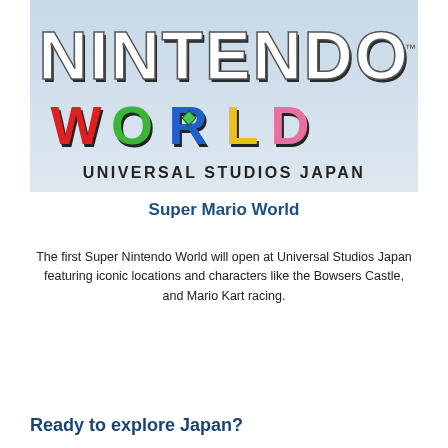[Figure (illustration): Nintendo World logo with colorful letters spelling WORLD in red, green, blue, yellow, and pink, with white 3D NINTENDO letters above and UNIVERSAL STUDIOS JAPAN text below, on a light blue sky background]
Super Mario World
The first Super Nintendo World will open at Universal Studios Japan featuring iconic locations and characters like the Bowsers Castle, and Mario Kart racing.
Ready to explore Japan?